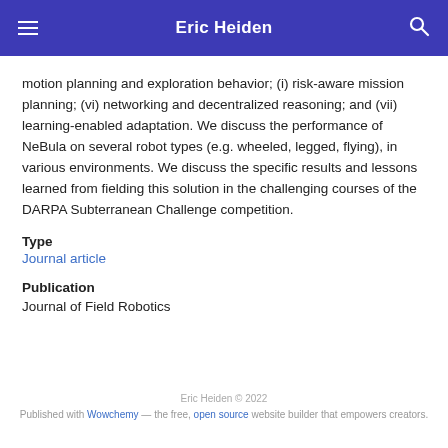Eric Heiden
motion planning and exploration behavior; (i) risk-aware mission planning; (vi) networking and decentralized reasoning; and (vii) learning-enabled adaptation. We discuss the performance of NeBula on several robot types (e.g. wheeled, legged, flying), in various environments. We discuss the specific results and lessons learned from fielding this solution in the challenging courses of the DARPA Subterranean Challenge competition.
Type
Journal article
Publication
Journal of Field Robotics
Eric Heiden © 2022
Published with Wowchemy — the free, open source website builder that empowers creators.